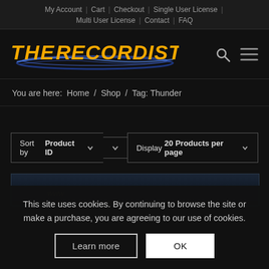My Account | Cart | Checkout | Single User License | Multi User License | Contact | FAQ
[Figure (logo): The Recordist logo with yellow italic bold text and blue swoosh graphic, search icon and hamburger menu icon]
You are here: Home / Shop / Tag: Thunder
Sort by Product ID ∨ ∨ Display 20 Products per page ∨
[Figure (screenshot): Partial product thumbnail image with dark blue gradient background]
This site uses cookies. By continuing to browse the site or make a purchase, you are agreeing to our use of cookies.
Learn more   OK